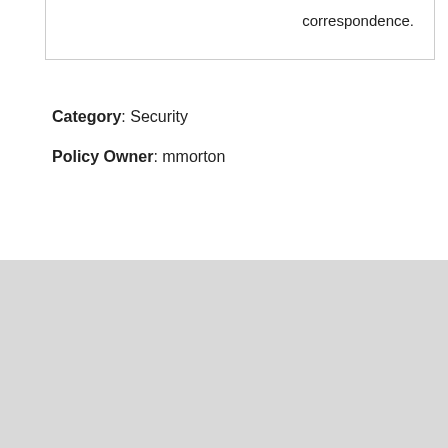correspondence.
Category: Security
Policy Owner: mmorton
[Figure (logo): The University of Chicago shield logo with phoenix and book imagery, alongside the text 'THE UNIVERSITY OF CHICAGO']
itservices@uchicago.edu
773.702.5800